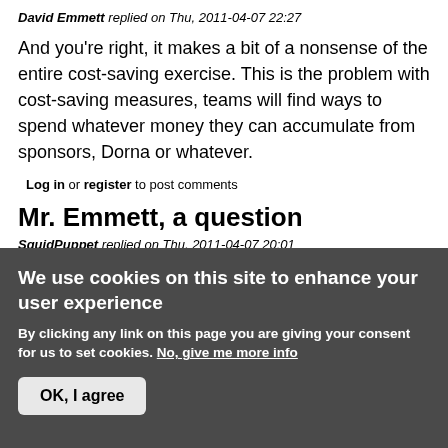David Emmett replied on Thu, 2011-04-07 22:27
And you're right, it makes a bit of a nonsense of the entire cost-saving exercise. This is the problem with cost-saving measures, teams will find ways to spend whatever money they can accumulate from sponsors, Dorna or whatever.
Log in or register to post comments
Mr. Emmett, a question
SquidPuppet replied on Thu, 2011-04-07 20:01
We use cookies on this site to enhance your user experience
By clicking any link on this page you are giving your consent for us to set cookies. No, give me more info
OK, I agree